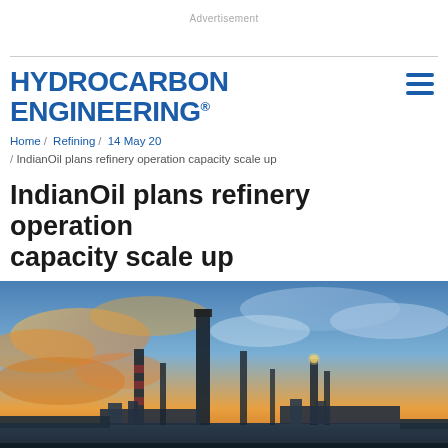Advertisement
HYDROCARBON ENGINEERING®
Home / Refining / 14 May 20 / IndianOil plans refinery operation capacity scale up
IndianOil plans refinery operation capacity scale up
[Figure (photo): Industrial refinery with tall smokestacks and processing towers against a dramatic sunset sky with orange and blue clouds]